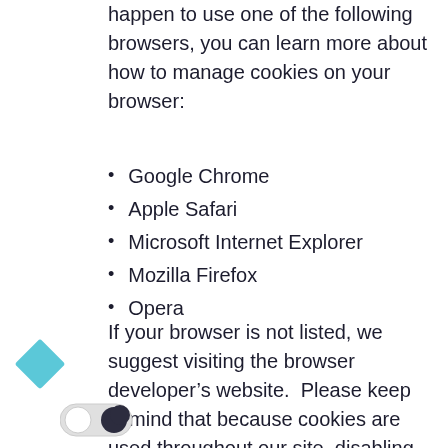happen to use one of the following browsers, you can learn more about how to manage cookies on your browser:
Google Chrome
Apple Safari
Microsoft Internet Explorer
Mozilla Firefox
Opera
If your browser is not listed, we suggest visiting the browser developer’s website.  Please keep in mind that because cookies are used throughout our site, disabling them may prevent you from using certain aspects of the